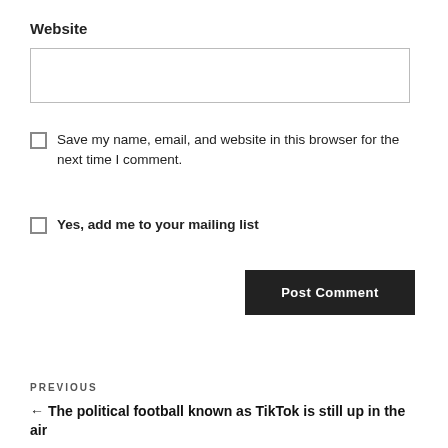Website
Save my name, email, and website in this browser for the next time I comment.
Yes, add me to your mailing list
Post Comment
PREVIOUS
← The political football known as TikTok is still up in the air